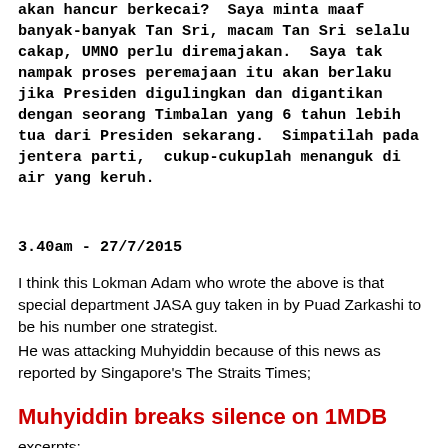akan hancur berkecai?  Saya minta maaf banyak-banyak Tan Sri, macam Tan Sri selalu cakap, UMNO perlu diremajakan.  Saya tak nampak proses peremajaan itu akan berlaku jika Presiden digulingkan dan digantikan dengan seorang Timbalan yang 6 tahun lebih tua dari Presiden sekarang.  Simpatilah pada jentera parti,  cukup-cukuplah menanguk di air yang keruh.
3.40am - 27/7/2015
I think this Lokman Adam who wrote the above is that special department JASA guy taken in by Puad Zarkashi to be his number one strategist.
He was attacking Muhyiddin because of this news as reported by Singapore's The Straits Times;
Muhyiddin breaks silence on 1MDB
excerpts;